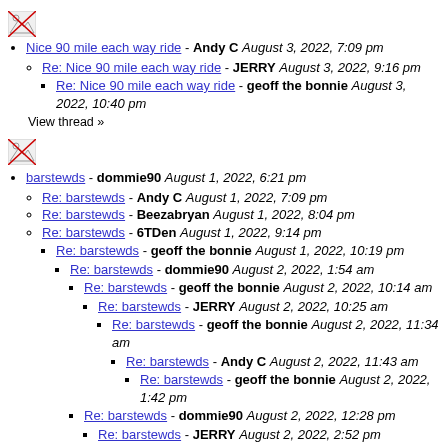[Figure (illustration): Broken image placeholder icon (small, green arrow/image icon)]
Nice 90 mile each way ride - Andy C August 3, 2022, 7:09 pm
Re: Nice 90 mile each way ride - JERRY August 3, 2022, 9:16 pm
Re: Nice 90 mile each way ride - geoff the bonnie August 3, 2022, 10:40 pm
View thread »
[Figure (illustration): Broken image placeholder icon (small, green arrow/image icon)]
barstewds - dommie90 August 1, 2022, 6:21 pm
Re: barstewds - Andy C August 1, 2022, 7:09 pm
Re: barstewds - Beezabryan August 1, 2022, 8:04 pm
Re: barstewds - 6TDen August 1, 2022, 9:14 pm
Re: barstewds - geoff the bonnie August 1, 2022, 10:19 pm
Re: barstewds - dommie90 August 2, 2022, 1:54 am
Re: barstewds - geoff the bonnie August 2, 2022, 10:14 am
Re: barstewds - JERRY August 2, 2022, 10:25 am
Re: barstewds - geoff the bonnie August 2, 2022, 11:34 am
Re: barstewds - Andy C August 2, 2022, 11:43 am
Re: barstewds - geoff the bonnie August 2, 2022, 1:42 pm
Re: barstewds - dommie90 August 2, 2022, 12:28 pm
Re: barstewds - JERRY August 2, 2022, 2:52 pm
Re: barstewds - 6TDen August 2, 2022, 5:22 pm
Re: barstewds - JERRY August 2, 2022, 6:30